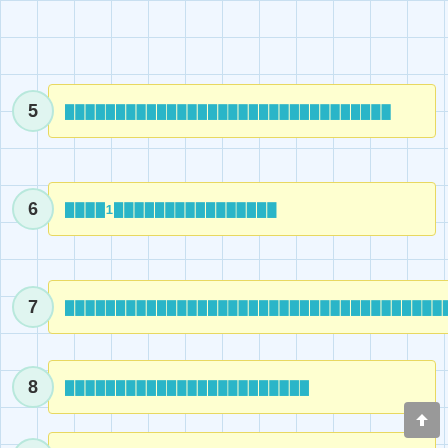5 ████████████████████
6 ████1████████████
7 ████████████████████████
8 ████████████████
9 ██████████████